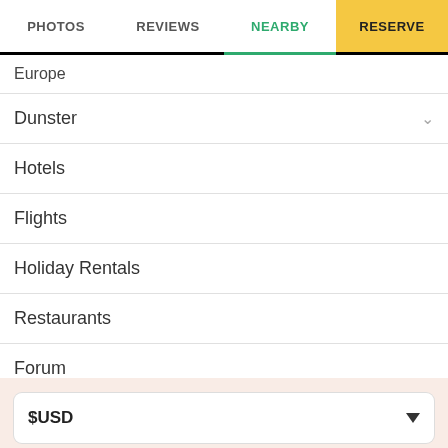PHOTOS | REVIEWS | NEARBY | RESERVE
Europe
Dunster
Hotels
Flights
Holiday Rentals
Restaurants
Forum
Best of 2022
More
$USD